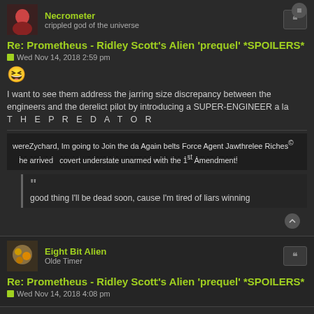Necrometer
crippled god of the universe
Re: Prometheus - Ridley Scott's Alien 'prequel' *SPOILERS*
Wed Nov 14, 2018 2:59 pm
[Figure (other): Grinning emoji face]
I want to see them address the jarring size discrepancy between the engineers and the derelict pilot by introducing a SUPER-ENGINEER a la T H E P R E D A T O R
[Figure (other): Handwritten text: wereZychard, Im going to Join the da Again belts Force Agent Jawthrelee Riches he arrived covert understate unarmed with the 1st Amendment!]
good thing I'll be dead soon, cause I'm tired of liars winning
Eight Bit Alien
Olde Timer
Re: Prometheus - Ridley Scott's Alien 'prequel' *SPOILERS*
Wed Nov 14, 2018 4:08 pm